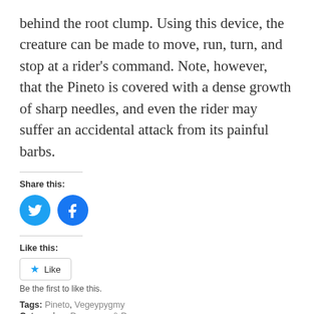behind the root clump. Using this device, the creature can be made to move, run, turn, and stop at a rider's command. Note, however, that the Pineto is covered with a dense growth of sharp needles, and even the rider may suffer an accidental attack from its painful barbs.
Share this:
[Figure (illustration): Two circular social media icons: Twitter (blue bird) and Facebook (blue f)]
Like this:
[Figure (illustration): Like button with star icon]
Be the first to like this.
Tags: Pineto, Vegeypygmy
Categories: Dungeons & Dragons